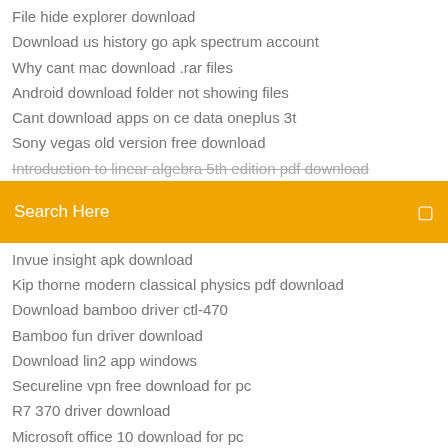File hide explorer download
Download us history go apk spectrum account
Why cant mac download .rar files
Android download folder not showing files
Cant download apps on ce data oneplus 3t
Sony vegas old version free download
Introduction to linear algebra 5th edition pdf download
[Figure (other): Orange search bar with 'Search Here' text and search icon]
Invue insight apk download
Kip thorne modern classical physics pdf download
Download bamboo driver ctl-470
Bamboo fun driver download
Download lin2 app windows
Secureline vpn free download for pc
R7 370 driver download
Microsoft office 10 download for pc
Microsoft office 10 download for pc
Download netgear router driver